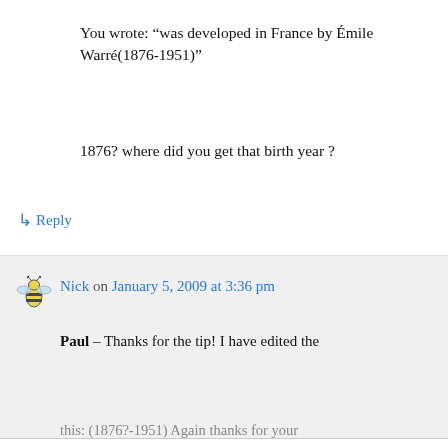You wrote: “was developed in France by Émile Warré(1876-1951)”
1876? where did you get that birth year ?
↳ Reply
Nick on January 5, 2009 at 3:36 pm
Paul – Thanks for the tip! I have edited the
Privacy & Cookies: This site uses cookies. By continuing to use this website, you agree to their use.
To find out more, including how to control cookies, see here: Cookie Policy
Close and accept
this: (1876?-1951) Again thanks for your